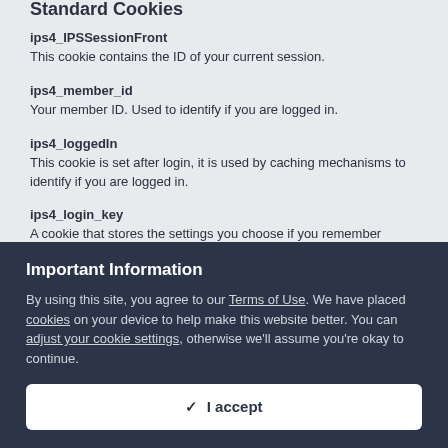Standard Cookies
ips4_IPSSessionFront
This cookie contains the ID of your current session.
ips4_member_id
Your member ID. Used to identify if you are logged in.
ips4_loggedIn
This cookie is set after login, it is used by caching mechanisms to identify if you are logged in.
ips4_login_key
(partial)
Important Information
By using this site, you agree to our Terms of Use. We have placed cookies on your device to help make this website better. You can adjust your cookie settings, otherwise we'll assume you're okay to continue.
✓  I accept